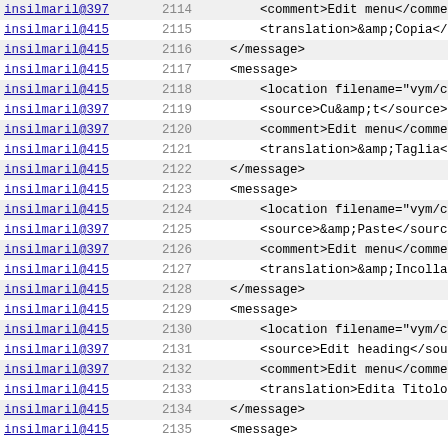| user | line | code |
| --- | --- | --- |
| insilmaril@397 | 2114 | <comment>Edit menu</comment |
| insilmaril@415 | 2115 | <translation>&amp;Copia</tr |
| insilmaril@415 | 2116 | </message> |
| insilmaril@415 | 2117 | <message> |
| insilmaril@415 | 2118 | <location filename="vym/coc |
| insilmaril@397 | 2119 | <source>Cu&amp;t</source> |
| insilmaril@397 | 2120 | <comment>Edit menu</comment |
| insilmaril@415 | 2121 | <translation>&amp;Taglia</t |
| insilmaril@415 | 2122 | </message> |
| insilmaril@415 | 2123 | <message> |
| insilmaril@415 | 2124 | <location filename="vym/coc |
| insilmaril@397 | 2125 | <source>&amp;Paste</source> |
| insilmaril@397 | 2126 | <comment>Edit menu</comment |
| insilmaril@415 | 2127 | <translation>&amp;Incolla</ |
| insilmaril@415 | 2128 | </message> |
| insilmaril@415 | 2129 | <message> |
| insilmaril@415 | 2130 | <location filename="vym/coc |
| insilmaril@397 | 2131 | <source>Edit heading</sourc |
| insilmaril@397 | 2132 | <comment>Edit menu</comment |
| insilmaril@415 | 2133 | <translation>Edita Titolo</ |
| insilmaril@415 | 2134 | </message> |
| insilmaril@415 | 2135 | <message> |